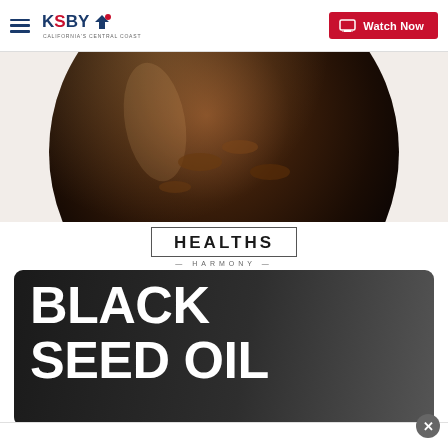KSBY California's Central Coast | Watch Now
[Figure (photo): Close-up of a product bottle showing the Healths Harmony Black Seed Oil Potent Liquid Capsules label. The top portion shows a brown/amber glass bottle. The label has a white background with the Healths Harmony logo in a box, and a dark charcoal rounded rectangle banner with large white text reading BLACK SEED OIL, and below it POTENT LIQUID CAPSULES.]